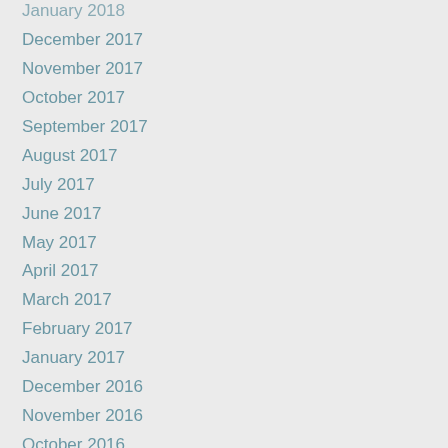January 2018
December 2017
November 2017
October 2017
September 2017
August 2017
July 2017
June 2017
May 2017
April 2017
March 2017
February 2017
January 2017
December 2016
November 2016
October 2016
September 2016
August 2016
July 2016
June 2016